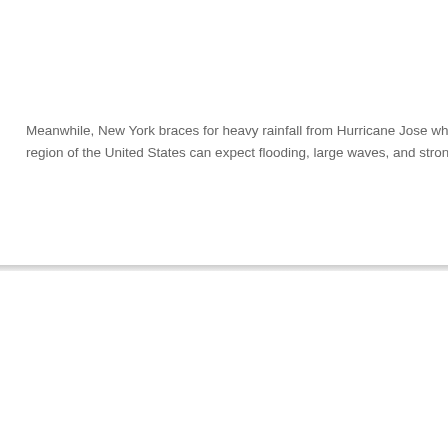Meanwhile, New York braces for heavy rainfall from Hurricane Jose which region of the United States can expect flooding, large waves, and strong r
Copyright © . All Rights Reserved.
National Hurricane Center is not affliated with any
Government or Weather Agency.